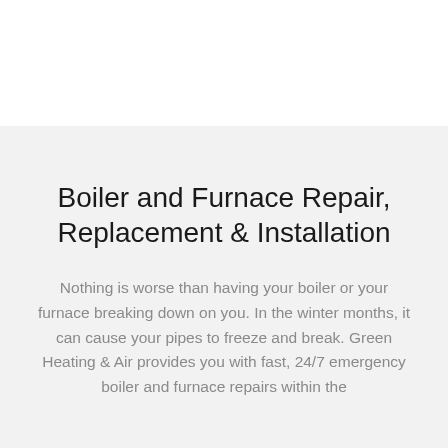Boiler and Furnace Repair, Replacement & Installation
Nothing is worse than having your boiler or your furnace breaking down on you. In the winter months, it can cause your pipes to freeze and break. Green Heating & Air provides you with fast, 24/7 emergency boiler and furnace repairs within the